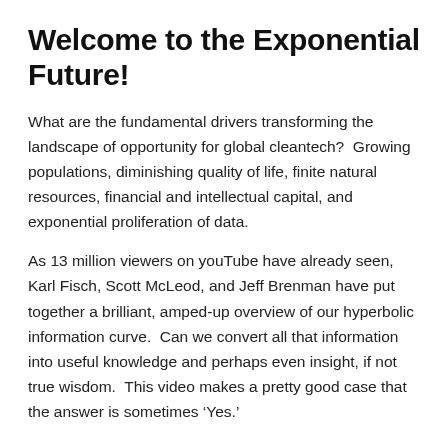Welcome to the Exponential Future!
What are the fundamental drivers transforming the landscape of opportunity for global cleantech?  Growing populations, diminishing quality of life, finite natural resources, financial and intellectual capital, and exponential proliferation of data.
As 13 million viewers on youTube have already seen, Karl Fisch, Scott McLeod, and Jeff Brenman have put together a brilliant, amped-up overview of our hyperbolic information curve.  Can we convert all that information into useful knowledge and perhaps even insight, if not true wisdom.  This video makes a pretty good case that the answer is sometimes ‘Yes.’